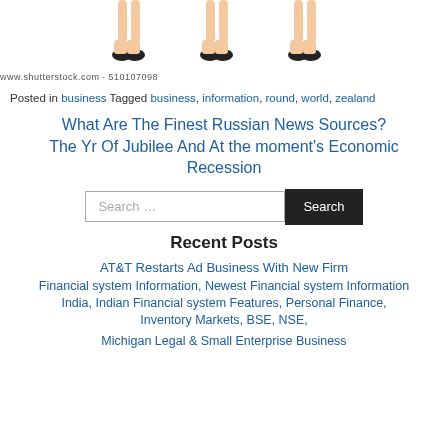[Figure (illustration): Three pairs of illustrated female legs/shoes at the top of the page, with Shutterstock watermark text below]
www.shutterstock.com · 510107098
Posted in business Tagged business, information, round, world, zealand
What Are The Finest Russian News Sources? The Yr Of Jubilee And At the moment's Economic Recession
[Figure (other): Search box with placeholder 'Search …' and a dark Search button]
Recent Posts
AT&T Restarts Ad Business With New Firm
Financial system Information, Newest Financial system Information India, Indian Financial system Features, Personal Finance, Inventory Markets, BSE, NSE,
Michigan Legal & Small Enterprise Business